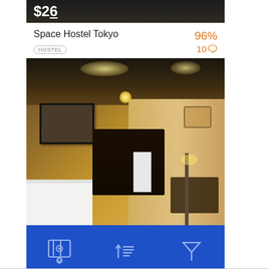[Figure (screenshot): Mobile app screenshot showing hostel booking card for Space Hostel Tokyo with 96% rating, 10 reviews, room interior photo, and bottom toolbar with map, sort, and filter icons on blue background]
Space Hostel Tokyo
HOSTEL
96%
10